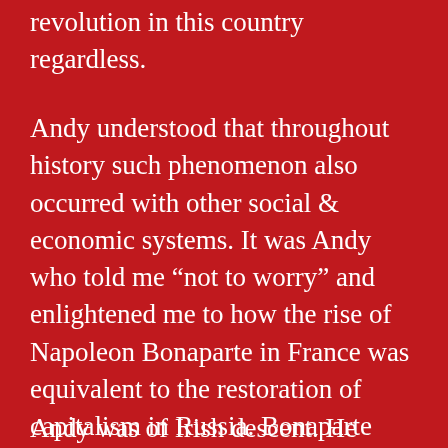revolution in this country regardless.
Andy understood that throughout history such phenomenon also occurred with other social & economic systems. It was Andy who told me “not to worry” and enlightened me to how the rise of Napoleon Bonaparte in France was equivalent to the restoration of capitalism in Russia. Bonaparte restored the political power of the monarchy that was defeated by the 1789 French Revolution.
Andy was of Irish descent. He demonstrated